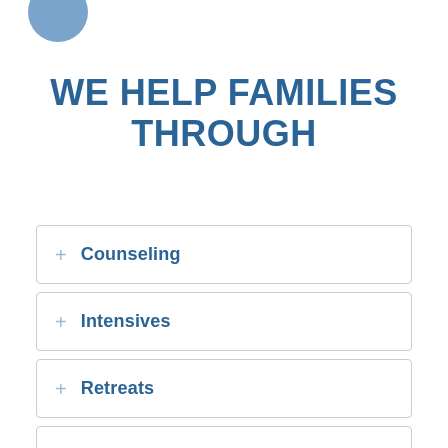[Figure (logo): Partial blue circle logo at top left]
WE HELP FAMILIES THROUGH
+ Counseling
+ Intensives
+ Retreats
+ Experiences